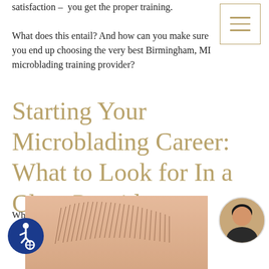satisfaction – you get the proper training.
What does this entail? And how can you make sure you end up choosing the very best Birmingham, MI microblading training provider?
Starting Your Microblading Career: What to Look for In a Class Provider
When looking for a microblading training provider, consider the following factors first.
[Figure (photo): Close-up photo of an eyebrow showing microblading hair strokes on skin]
[Figure (photo): Circular portrait photo of a dark-haired woman]
[Figure (illustration): Accessibility icon (wheelchair user) in blue circle, bottom left]
[Figure (illustration): Hamburger menu button with three gold horizontal lines in a bordered box, top right]
[Figure (illustration): Up arrow in a circle button, right side]